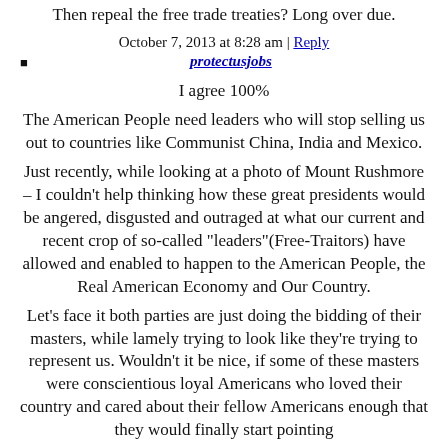Then repeal the free trade treaties? Long over due.
October 7, 2013 at 8:28 am | Reply
protectusjobs
I agree 100%
The American People need leaders who will stop selling us out to countries like Communist China, India and Mexico.
Just recently, while looking at a photo of Mount Rushmore – I couldn't help thinking how these great presidents would be angered, disgusted and outraged at what our current and recent crop of so-called "leaders"(Free-Traitors) have allowed and enabled to happen to the American People, the Real American Economy and Our Country.
Let's face it both parties are just doing the bidding of their masters, while lamely trying to look like they're trying to represent us. Wouldn't it be nice, if some of these masters were conscientious loyal Americans who loved their country and cared about their fellow Americans enough that they would finally start pointing